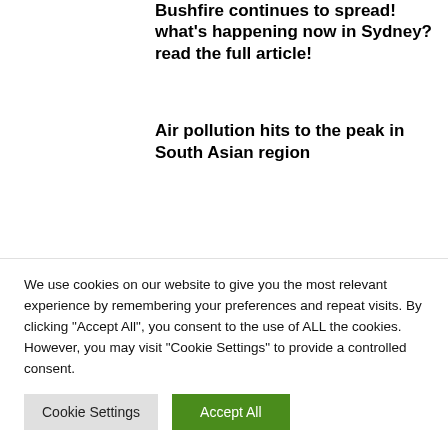Bushfire continues to spread! what's happening now in Sydney? read the full article!
Air pollution hits to the peak in South Asian region
Potterhead couple spends
We use cookies on our website to give you the most relevant experience by remembering your preferences and repeat visits. By clicking "Accept All", you consent to the use of ALL the cookies. However, you may visit "Cookie Settings" to provide a controlled consent.